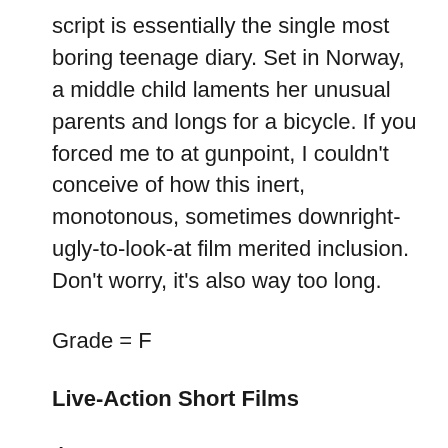script is essentially the single most boring teenage diary. Set in Norway, a middle child laments her unusual parents and longs for a bicycle. If you forced me to at gunpoint, I couldn't conceive of how this inert, monotonous, sometimes downright-ugly-to-look-at film merited inclusion. Don't worry, it's also way too long.
Grade = F
Live-Action Short Films
Aya
Directors: Oded Binnun, Mihal Brezis
Have you ever listened to a song that seems